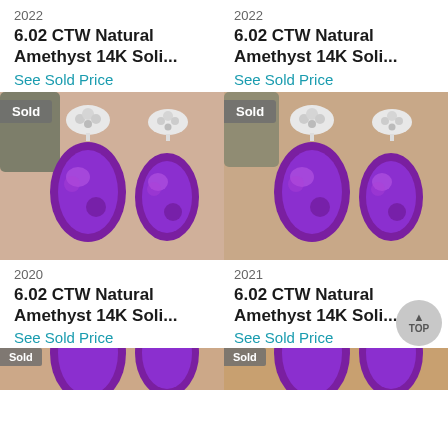2022
6.02 CTW Natural Amethyst 14K Soli...
See Sold Price
2022
6.02 CTW Natural Amethyst 14K Soli...
See Sold Price
[Figure (photo): Two oval purple amethyst earrings with diamond cluster tops in white gold setting, Sold badge overlay]
[Figure (photo): Two oval purple amethyst earrings with diamond cluster tops in white gold setting, Sold badge overlay]
2020
6.02 CTW Natural Amethyst 14K Soli...
See Sold Price
2021
6.02 CTW Natural Amethyst 14K Soli...
See Sold Price
[Figure (photo): Partial view of amethyst earrings, Sold badge, bottom of page]
[Figure (photo): Partial view of amethyst earrings, Sold badge, bottom of page]